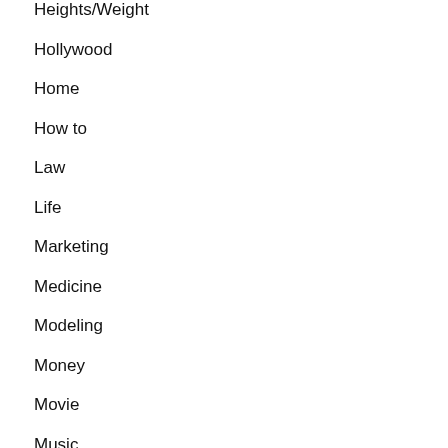Heights/Weight
Hollywood
Home
How to
Law
Life
Marketing
Medicine
Modeling
Money
Movie
Music
Net Worth
Outdoors
Pets
Plastic surgery